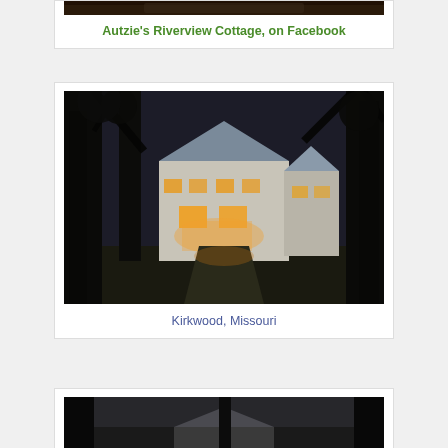[Figure (photo): Top of a photo partially visible - dark outdoor scene]
Autzie's Riverview Cottage, on Facebook
[Figure (photo): Evening/dusk photo of a large Tudor-style house lit from within, surrounded by tall trees, with a curved driveway leading to the entrance. Kirkwood, Missouri.]
Kirkwood, Missouri
[Figure (photo): Partial photo visible at bottom - dark outdoor trees and a building, snow or light visible]